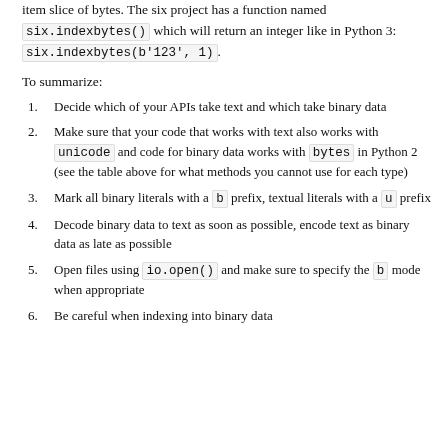item slice of bytes. The six project has a function named six.indexbytes() which will return an integer like in Python 3: six.indexbytes(b'123', 1).
To summarize:
Decide which of your APIs take text and which take binary data
Make sure that your code that works with text also works with unicode and code for binary data works with bytes in Python 2 (see the table above for what methods you cannot use for each type)
Mark all binary literals with a b prefix, textual literals with a u prefix
Decode binary data to text as soon as possible, encode text as binary data as late as possible
Open files using io.open() and make sure to specify the b mode when appropriate
Be careful when indexing into binary data